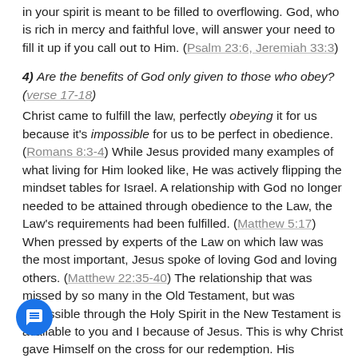in your spirit is meant to be filled to overflowing. God, who is rich in mercy and faithful love, will answer your need to fill it up if you call out to Him. (Psalm 23:6, Jeremiah 33:3)
4) Are the benefits of God only given to those who obey? (verse 17-18)
Christ came to fulfill the law, perfectly obeying it for us because it's impossible for us to be perfect in obedience. (Romans 8:3-4) While Jesus provided many examples of what living for Him looked like, He was actively flipping the mindset tables for Israel. A relationship with God no longer needed to be attained through obedience to the Law, the Law's requirements had been fulfilled. (Matthew 5:17) When pressed by experts of the Law on which law was the most important, Jesus spoke of loving God and loving others. (Matthew 22:35-40) The relationship that was missed by so many in the Old Testament, but was accessible through the Holy Spirit in the New Testament is available to you and I because of Jesus. This is why Christ gave Himself on the cross for our redemption. His payment for our sin was not only to rescue us from sin's consequence of eternal death and give us eternal life (John 3:16-17), but to give us direct access to a deeply satisfying relationship with Him. He did this by sending His Spirit to actively